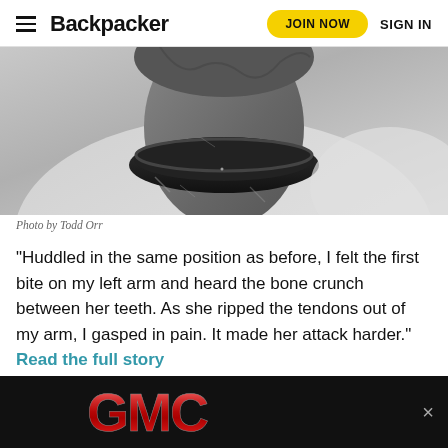Backpacker | JOIN NOW | SIGN IN
[Figure (photo): Black and white close-up photo of a person's neck and collar area with dirt/injury marks, wearing a dark turtle-neck collar and light shirt]
Photo by Todd Orr
“Huddled in the same position as before, I felt the first bite on my left arm and heard the bone crunch between her teeth. As she ripped the tendons out of my arm, I gasped in pain. It made her attack harder.” Read the full story
Trapp
[Figure (logo): GMC advertisement banner with red metallic GMC logo on black background]